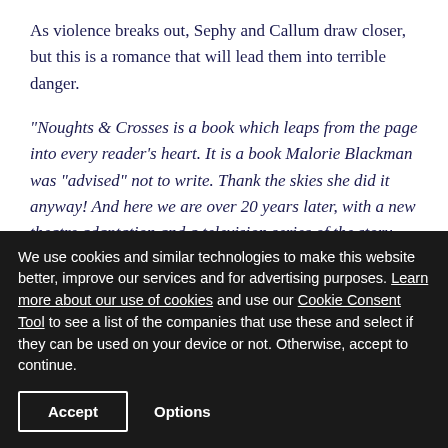As violence breaks out, Sephy and Callum draw closer, but this is a romance that will lead them into terrible danger.
“Noughts & Crosses is a book which leaps from the page into every reader’s heart. It is a book Malorie Blackman was “advised” not to write. Thank the skies she did it anyway! And here we are over 20 years later, with a new theatre adaptation and a television series of the story.
(The story has at its centre) Sephy and Callum - these two
We use cookies and similar technologies to make this website better, improve our services and for advertising purposes. Learn more about our use of cookies and use our Cookie Consent Tool to see a list of the companies that use these and select if they can be used on your device or not. Otherwise, accept to continue.